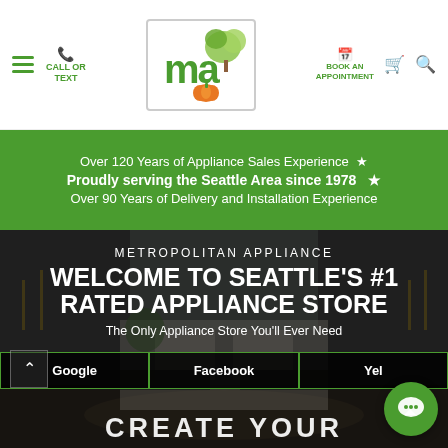Metropolitan Appliance website header — hamburger menu, CALL OR TEXT, logo (ma with tree), BOOK AN APPOINTMENT, cart icon, search icon
Over 120 Years of Appliance Sales Experience ★
Proudly serving the Seattle Area since 1978 ★
Over 90 Years of Delivery and Installation Experience
[Figure (photo): Kitchen interior with white cabinets, dark countertops, large windows — used as hero background image]
METROPOLITAN APPLIANCE
WELCOME TO SEATTLE'S #1 RATED APPLIANCE STORE
The Only Appliance Store You'll Ever Need
Google | Facebook | Yel[p]
CREATE YOUR...